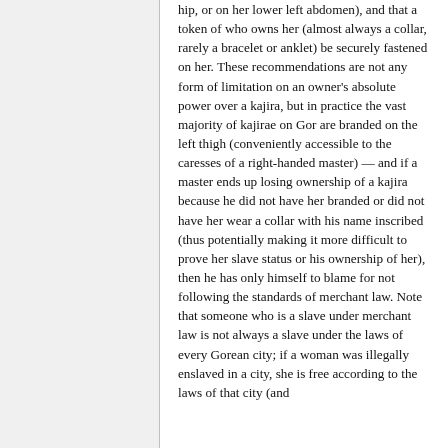hip, or on her lower left abdomen), and that a token of who owns her (almost always a collar, rarely a bracelet or anklet) be securely fastened on her. These recommendations are not any form of limitation on an owner's absolute power over a kajira, but in practice the vast majority of kajirae on Gor are branded on the left thigh (conveniently accessible to the caresses of a right-handed master) — and if a master ends up losing ownership of a kajira because he did not have her branded or did not have her wear a collar with his name inscribed (thus potentially making it more difficult to prove her slave status or his ownership of her), then he has only himself to blame for not following the standards of merchant law. Note that someone who is a slave under merchant law is not always a slave under the laws of every Gorean city; if a woman was illegally enslaved in a city, she is free according to the laws of that city (and